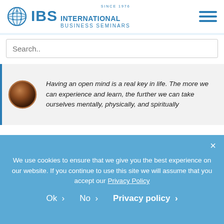[Figure (logo): IBS International Business Seminars logo with globe icon, SINCE 1976 text, and hamburger menu icon]
[Figure (screenshot): Search input field with placeholder text 'Search..']
Having an open mind is a real key in life. The more we can experience and learn, the further we can take ourselves mentally, physically, and spiritually
SIMILAR POSTS YOU MIGHT BE INTERESTED IN:
Museum Hopping on My Seminar in Europe
We use cookies to ensure that we give you the best experience on our website. If you continue to use this site we will assume that you accept our Privacy Policy
Ok  No  Privacy policy